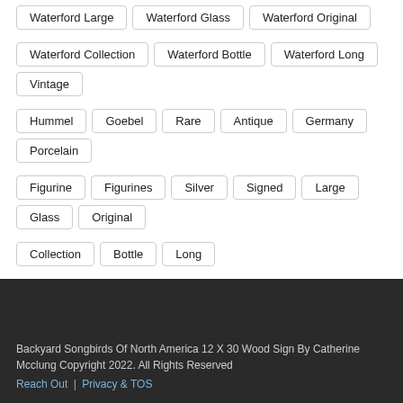Waterford Large
Waterford Glass
Waterford Original
Waterford Collection
Waterford Bottle
Waterford Long
Vintage
Hummel
Goebel
Rare
Antique
Germany
Porcelain
Figurine
Figurines
Silver
Signed
Large
Glass
Original
Collection
Bottle
Long
Backyard Songbirds Of North America 12 X 30 Wood Sign By Catherine Mcclung Copyright 2022. All Rights Reserved
Reach Out | Privacy & TOS